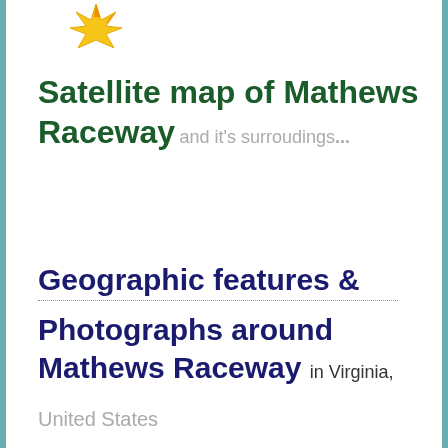[Figure (illustration): Gold star/sun emoji icon at the top center of the page]
Satellite map of Mathews Raceway and it's surroudings...
Geographic features & Photographs around Mathews Raceway in Virginia, United States